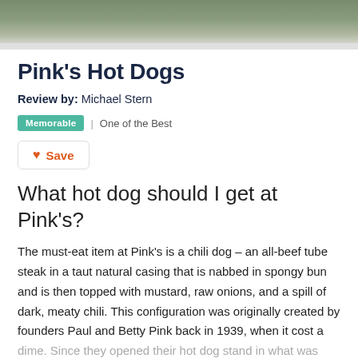[Figure (photo): Top portion of a photo showing outdoor scenery, partially cropped at top of page]
Pink's Hot Dogs
Review by: Michael Stern
Memorable | One of the Best
Save
What hot dog should I get at Pink's?
The must-eat item at Pink's is a chili dog – an all-beef tube steak in a taut natural casing that is nabbed in spongy bun and is then topped with mustard, raw onions, and a spill of dark, meaty chili. This configuration was originally created by founders Paul and Betty Pink back in 1939, when it cost a dime. Since they opened their hot dog stand in what was then the Hollywood countryside, an entire city has grown